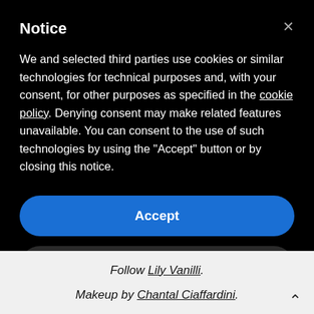Notice
We and selected third parties use cookies or similar technologies for technical purposes and, with your consent, for other purposes as specified in the cookie policy. Denying consent may make related features unavailable. You can consent to the use of such technologies by using the "Accept" button or by closing this notice.
Accept
Learn more and customize
Follow Lily Vanilli.
Makeup by Chantal Ciaffardini.